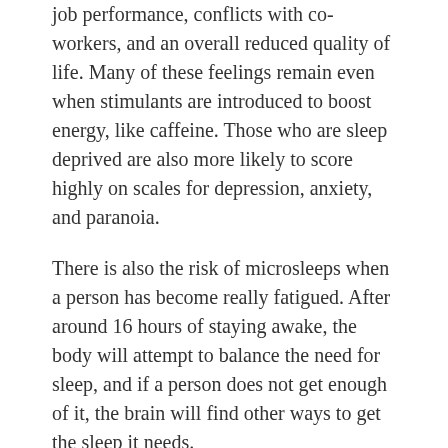job performance, conflicts with co-workers, and an overall reduced quality of life. Many of these feelings remain even when stimulants are introduced to boost energy, like caffeine. Those who are sleep deprived are also more likely to score highly on scales for depression, anxiety, and paranoia.
There is also the risk of microsleeps when a person has become really fatigued. After around 16 hours of staying awake, the body will attempt to balance the need for sleep, and if a person does not get enough of it, the brain will find other ways to get the sleep it needs.
Microsleeps are an uncontrollable response that your brain has when you are deprived of sleep, and it renders a person completely unable to process any stimulation around you as well as sensory information for an incredibly brief amount of time.
Your eyes will tend to remain open during a microsleep, but you will be spaced out during it. The